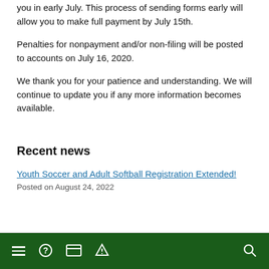you in early July. This process of sending forms early will allow you to make full payment by July 15th.
Penalties for nonpayment and/or non-filing will be posted to accounts on July 16, 2020.
We thank you for your patience and understanding. We will continue to update you if any more information becomes available.
Recent news
Youth Soccer and Adult Softball Registration Extended!
Posted on August 24, 2022
Navigation bar with icons: menu, help, payment, alert, search